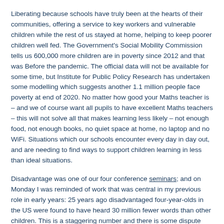Liberating because schools have truly been at the hearts of their communities, offering a service to key workers and vulnerable children while the rest of us stayed at home, helping to keep poorer children well fed. The Government's Social Mobility Commission tells us 600,000 more children are in poverty since 2012 and that was Before the pandemic. The official data will not be available for some time, but Institute for Public Policy Research has undertaken some modelling which suggests another 1.1 million people face poverty at end of 2020. No matter how good your Maths teacher is – and we of course want all pupils to have excellent Maths teachers – this will not solve all that makes learning less likely – not enough food, not enough books, no quiet space at home, no laptop and no WiFi. Situations which our schools encounter every day in day out, and are needing to find ways to support children learning in less than ideal situations.
Disadvantage was one of our four conference seminars; and on Monday I was reminded of work that was central in my previous role in early years: 25 years ago disadvantaged four-year-olds in the US were found to have heard 30 million fewer words than other children. This is a staggering number and there is some dispute over its exactitude, but what isn't disputed is that researchers have also identified a difference in the and quality of interactions with words experienced by less well-o children, with quality and quantity found to be of equal importanc gap in speech, language, and communication is a powerful force in holding